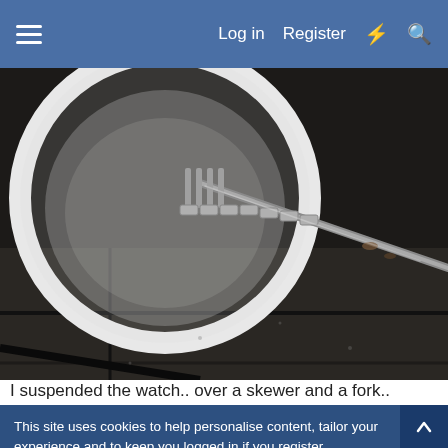≡   Log in   Register   ⚡   🔍
[Figure (photo): Close-up photo of a watch band suspended over a skewer and a fork on a dark surface, with a white bowl/dish visible in the upper portion of the image.]
I suspended the watch.. over a skewer and a fork.. the watch
This site uses cookies to help personalise content, tailor your experience and to keep you logged in if you register.
By continuing to use this site, you are consenting to our use of cookies.
✓  Accept
Learn more...